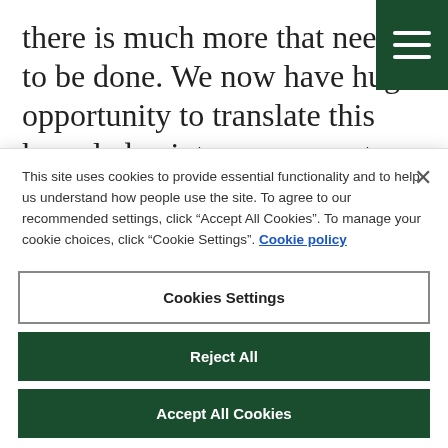there is much more that needs to be done. We now have huge opportunity to translate this knowledge into new ways to help patients. This partnership will speed up the development of life-changing treatments
This site uses cookies to provide essential functionality and to help us understand how people use the site. To agree to our recommended settings, click “Accept All Cookies”. To manage your cookie choices, click “Cookie Settings”. Cookie policy